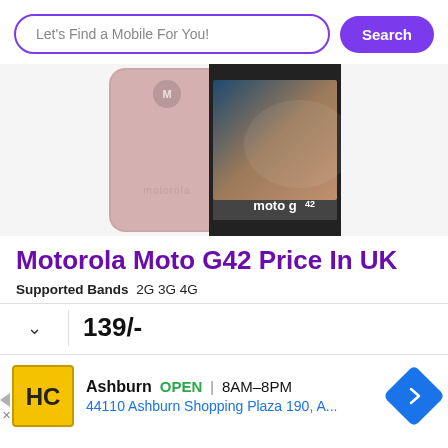Let's Find a Mobile For You!
Search
[Figure (photo): Motorola Moto G42 smartphone shown from back and front, pink/rose gold color, showing motorola branding and moto g42 logo on screen]
Motorola Moto G42 Price In UK
Supported Bands 2G 3G 4G
139/-
Ashburn OPEN 8AM–8PM 44110 Ashburn Shopping Plaza 190, A...